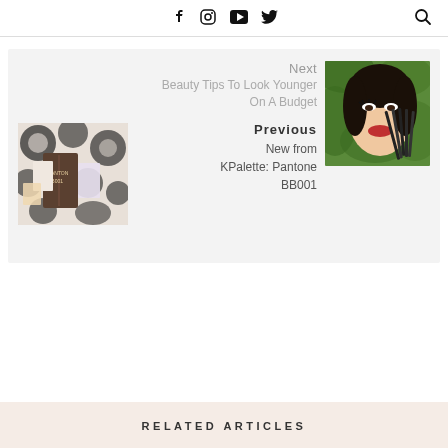Social icons: Facebook, Instagram, YouTube, Twitter; Search icon
Next
Beauty Tips To Look Younger On A Budget
[Figure (photo): Photo of makeup brushes held by a woman with red lips and dramatic eye makeup against green leaves background]
Previous
New from KPalette: Pantone BB001
[Figure (photo): Photo of KPalette Pantone BB001 product packaging with makeup items on a floral black and white fabric]
RELATED ARTICLES